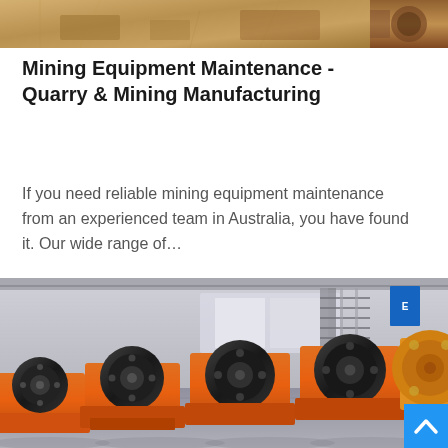[Figure (photo): Top banner strip showing mining/quarry site with sandy/earthy materials and machinery, partially visible at top of page. Right side shows close-up of worn mining equipment component.]
Mining Equipment Maintenance - Quarry & Mining Manufacturing
If you need reliable mining equipment maintenance from an experienced team in Australia, you have found it. Our wide range of…
[Figure (photo): Large industrial photo of multiple orange jaw crusher machines lined up in a factory/warehouse setting. The crushers have large black flywheels and orange frames. Industrial building structure with staircases visible in background.]